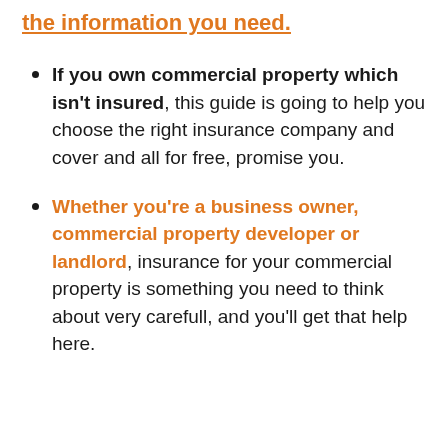the information you need.
If you own commercial property which isn't insured, this guide is going to help you choose the right insurance company and cover and all for free, promise you.
Whether you're a business owner, commercial property developer or landlord, insurance for your commercial property is something you need to think about very carefull, and you'll get that help here.